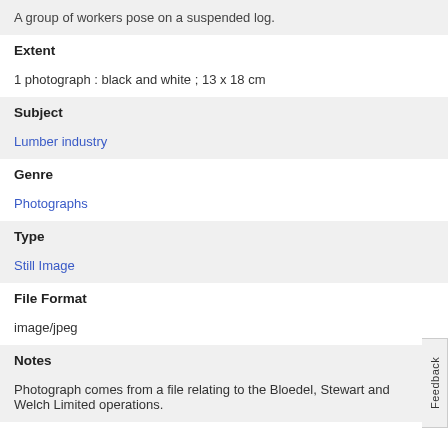A group of workers pose on a suspended log.
Extent
1 photograph : black and white ; 13 x 18 cm
Subject
Lumber industry
Genre
Photographs
Type
Still Image
File Format
image/jpeg
Notes
Photograph comes from a file relating to the Bloedel, Stewart and Welch Limited operations.